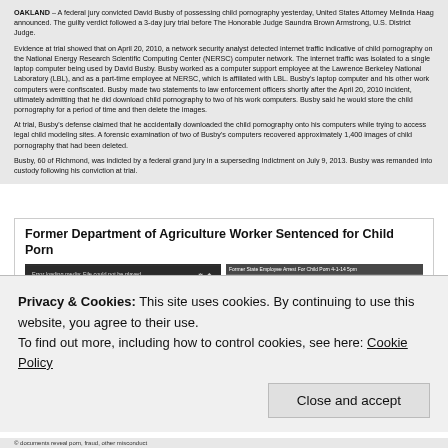OAKLAND – A federal jury convicted David Busby of possessing child pornography yesterday, United States Attorney Melinda Haag announced. The guilty verdict followed a 3-day jury trial before The Honorable Judge Saundra Brown Armstrong, U.S. District Judge.
Evidence at trial showed that on April 20, 2010, a network security analyst detected internet traffic indicative of child pornography on the National Energy Research Scientific Computing Center (NERSC) computer network. The internet traffic was isolated to a single laptop computer being used by David Busby. Busby worked as a computer support employee at the Lawrence Berkeley National Laboratory (LBL), and as a part-time employee at NERSC, which is affiliated with LBL. Busby's laptop computer and his other work computers were confiscated. Busby made two statements to law enforcement officers shortly after the April 20, 2010 incident, ultimately admitting that he did download child pornography to two of his work computers. Busby said he would store the child pornography for a period of time and then delete the images.
At trial, Busby's defense claimed that he accidentally downloaded the child pornography onto his computers while trying to access legal child modeling sites. A forensic examination of two of Busby's computers recovered approximately 1,400 images of child pornography that had been deleted.
Busby, 60 of Richmond, was indicted by a federal grand jury in a superseding Indictment on July 9, 2013. Busby was remanded into custody following his conviction at trial.
Former Department of Agriculture Worker Sentenced for Child Porn
[Figure (screenshot): Video player showing error message 'Error loading media: File could not be played' with play button, alongside sidebar with three thumbnail video items labeled 'Former State Employee Arrest For Child Porn 4-1-14 5pm', 'Former State Employee Arrested For Child Porn 4-1-14 5pm', and 'Child Porn Arrest 4-1-14 Noon']
Privacy & Cookies: This site uses cookies. By continuing to use this website, you agree to their use.
To find out more, including how to control cookies, see here: Cookie Policy
Close and accept
© documents reveal porn, fraud, other misconduct